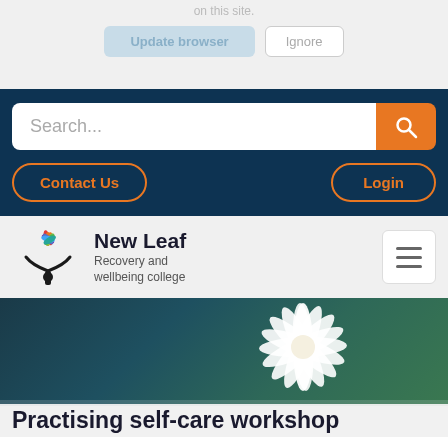on this site.
[Figure (screenshot): Browser update prompt with 'Update browser' and 'Ignore' buttons]
[Figure (other): Search bar with orange search button, Contact Us and Login navigation buttons on dark navy background]
[Figure (logo): New Leaf Recovery and wellbeing college logo with colorful tree/leaves icon]
New Leaf
Recovery and wellbeing college
[Figure (photo): Hero image with white daisy flower on dark teal/green blurred background]
Practising self-care workshop